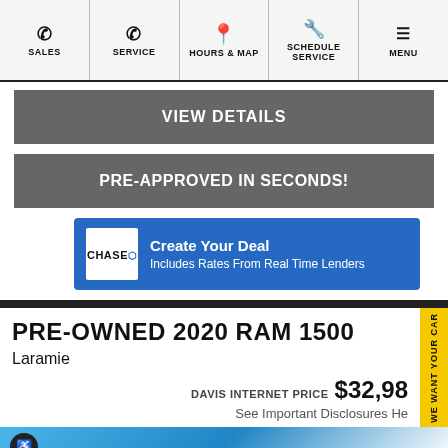SALES | SERVICE | HOURS & MAP | SCHEDULE SERVICE | MENU
VIEW DETAILS
PRE-APPROVED IN SECONDS!
[Figure (logo): Chase logo with Create Your Deal banner — blue background, Chase logo box, text: Create Your Deal / Includes Rates From Real Time Lenders]
PRE-OWNED 2020 RAM 1500
Laramie
DAVIS INTERNET PRICE $32,98...
See Important Disclosures He...
[Figure (photo): Bottom strip showing blue sky and vehicle image partially visible]